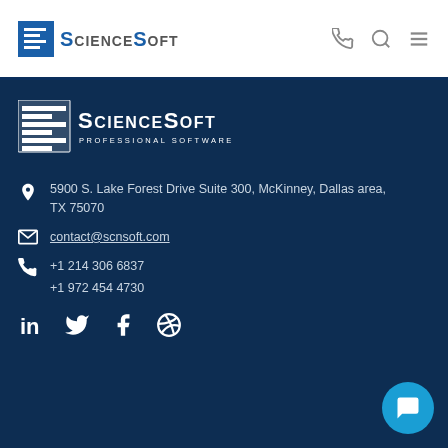[Figure (logo): ScienceSoft logo in header - blue S icon with horizontal lines and ScienceSoft text]
[Figure (logo): ScienceSoft logo in footer - white version with Professional Software Development tagline]
5900 S. Lake Forest Drive Suite 300, McKinney, Dallas area, TX 75070
contact@scnsoft.com
+1 214 306 6837
+1 972 454 4730
[Figure (infographic): Social media icons: LinkedIn, Twitter, Facebook, Dribbble]